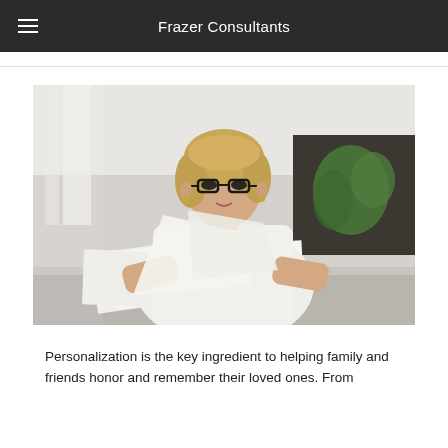Frazer Consultants
[Figure (photo): Middle-aged blonde woman with glasses in a white shirt, leaning over a desk reviewing documents in a modern office with plants in the background]
Personalization is the key ingredient to helping family and friends honor and remember their loved ones. From